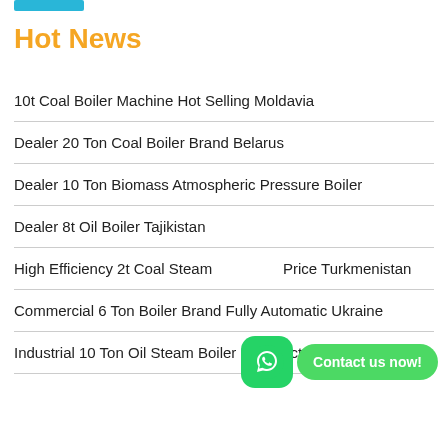Hot News
10t Coal Boiler Machine Hot Selling Moldavia
Dealer 20 Ton Coal Boiler Brand Belarus
Dealer 10 Ton Biomass Atmospheric Pressure Boiler
Dealer 8t Oil Boiler Tajikistan
High Efficiency 2t Coal Steam Price Turkmenistan
Commercial 6 Ton Boiler Brand Fully Automatic Ukraine
Industrial 10 Ton Oil Steam Boiler Manufacturers Kazakhstan